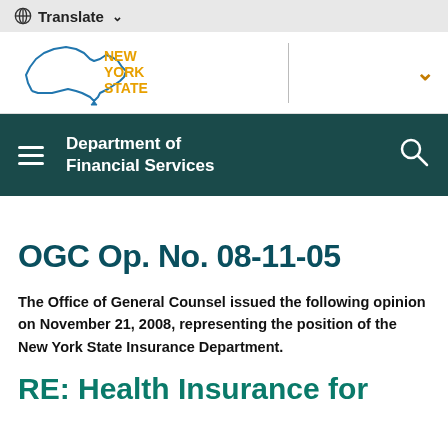🌐 Translate ▾
[Figure (logo): New York State logo with outline of NY state in blue and orange text reading NEW YORK STATE]
Department of Financial Services
OGC Op. No. 08-11-05
The Office of General Counsel issued the following opinion on November 21, 2008, representing the position of the New York State Insurance Department.
RE: Health Insurance for